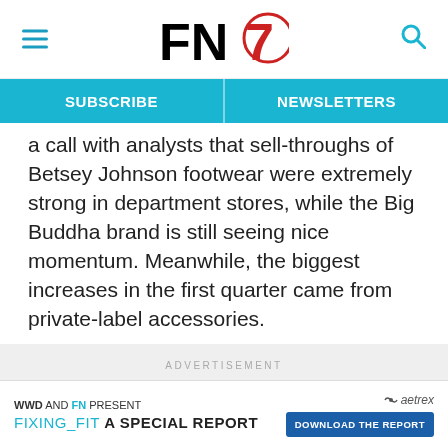FN7 [Footwear News logo] — navigation header with hamburger menu and search icon
SUBSCRIBE | NEWSLETTERS
a call with analysts that sell-throughs of Betsey Johnson footwear were extremely strong in department stores, while the Big Buddha brand is still seeing nice momentum. Meanwhile, the biggest increases in the first quarter came from private-label accessories.
ADVERTISEMENT
[Figure (other): Advertisement placeholder area (gray background)]
WWD AND FN PRESENT FIXING_FIT A SPECIAL REPORT DOWNLOAD THE REPORT — aetrex logo